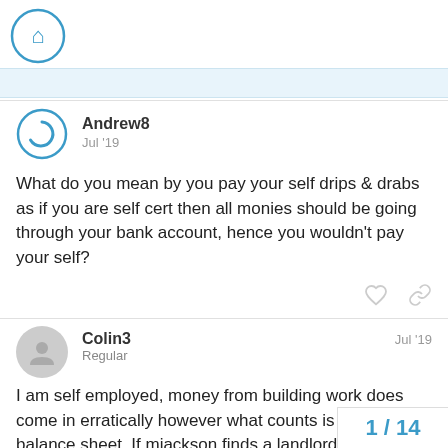[Figure (logo): Home icon inside a blue circle]
Andrew8   Jul '19
What do you mean by you pay your self drips & drabs as if you are self cert then all monies should be going through your bank account, hence you wouldn't pay your self?
Colin3   Regular   Jul '19
I am self employed, money from building work does come in erratically however what counts is the annual balance sheet. If mjackson finds a landlord who is self empl a balance sheet there should be no proble
1 / 14